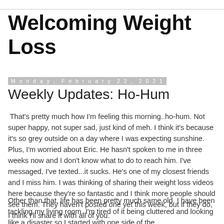Welcoming Weight Loss
Monday, February 22, 2021
Weekly Updates: Ho-Hum
That's pretty much how I'm feeling this morning..ho-hum. Not super happy, not super sad, just kind of meh. I think it's because it's so grey outside on a day where I was expecting sunshine. Plus, I'm worried about Eric. He hasn't spoken to me in three weeks now and I don't know what to do to reach him. I've messaged, I've texted...it sucks. He's one of my closest friends and I miss him. I was thinking of sharing their weight loss videos here because they're so fantastic and I think more people should see them. They haven't posted one yet this week, but if they do, I think I'll share it with all of you.
Other than that, life has been pretty much same old. I have been tackling my living room. I'm tired of it being cluttered and looking like a disaster so I started with one side of the